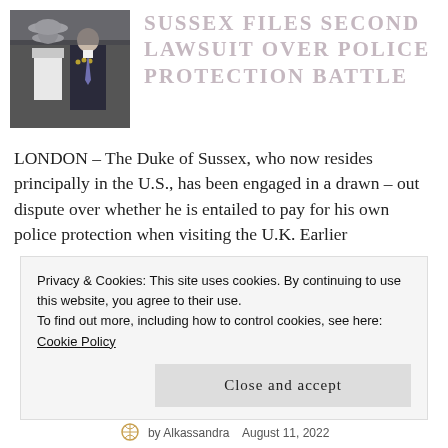[Figure (photo): A woman in white dress and white hat and a man in a dark suit with military medals walking together]
SUSSEX FILES SECOND LAWSUIT OVER POLICE PROTECTION BATTLE
LONDON – The Duke of Sussex, who now resides principally in the U.S., has been engaged in a drawn – out dispute over whether he is entailed to pay for his own police protection when visiting the U.K. Earlier
Privacy & Cookies: This site uses cookies. By continuing to use this website, you agree to their use.
To find out more, including how to control cookies, see here: Cookie Policy
Close and accept
by Alkassandra   August 11, 2022